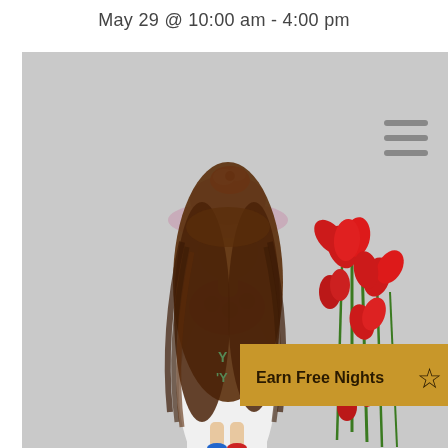May 29 @ 10:00 am - 4:00 pm
[Figure (photo): A handmade doll figure with long brown hair, wearing a wide-brimmed pink/grey hat with a floral decoration on top, a pink polka-dot top, a white dress, holding red flowers on a grey background. A hamburger menu icon appears in the upper right area of the image. An 'Earn Free Nights' golden banner with a star icon overlays the lower right portion of the image.]